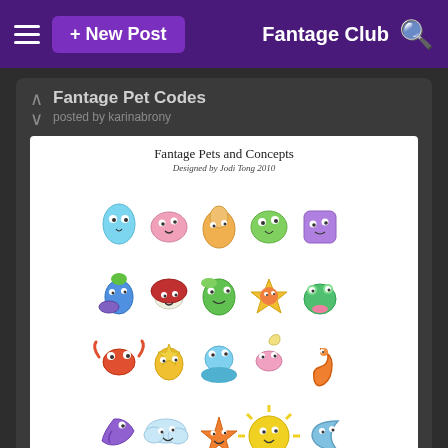+ New Post   Fantage Club
Fantage Pet Codes
posted by karinabrony
[Figure (illustration): Illustration of Fantage Pets and Concepts, designed by Jodi Tong 2010. Shows 4 rows of colorful cartoon virtual pets: teardrop, bean, pear, leaf, cube shapes; plant, mushroom-cat, dragon, star-flower, frog; crab, star-crown, mermaid, flower-snail, seahorse; tornado, cloud, orange-star, sun, moon; and dinosaur, axolotl, green-dragon, orange-dragon, purple-sea-creature.]
Fantage Pets
Here are all of the codes to the pets in Fantage.